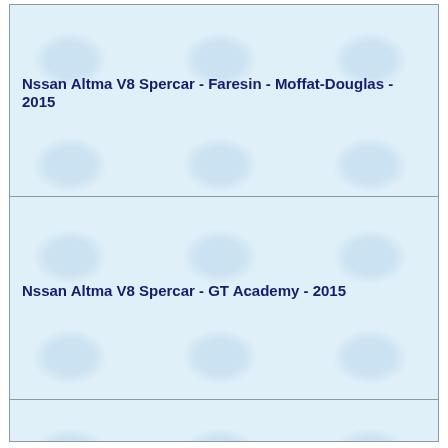Nssan Altma V8 Spercar - Faresin - Moffat-Douglas - 2015
Nssan Altma V8 Spercar - GT Academy - 2015